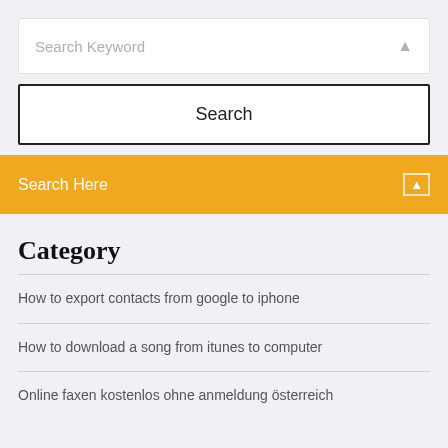[Figure (screenshot): Search input field with placeholder text 'Search Keyword' and a search icon on the right]
[Figure (screenshot): Search button with label 'Search' inside a bordered box]
[Figure (screenshot): Orange/yellow search bar with 'Search Here' label and a small icon on the right]
Category
How to export contacts from google to iphone
How to download a song from itunes to computer
Online faxen kostenlos ohne anmeldung österreich